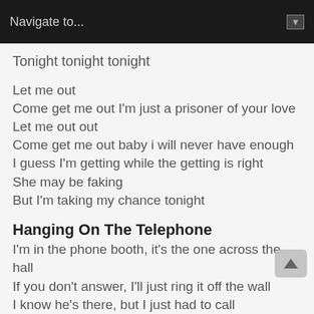Navigate to...
Tonight tonight tonight
Let me out
Come get me out I'm just a prisoner of your love
Let me out out
Come get me out baby i will never have enough
I guess I'm getting while the getting is right
She may be faking
But I'm taking my chance tonight
Hanging On The Telephone
I'm in the phone booth, it's the one across the hall
If you don't answer, I'll just ring it off the wall
I know he's there, but I just had to call